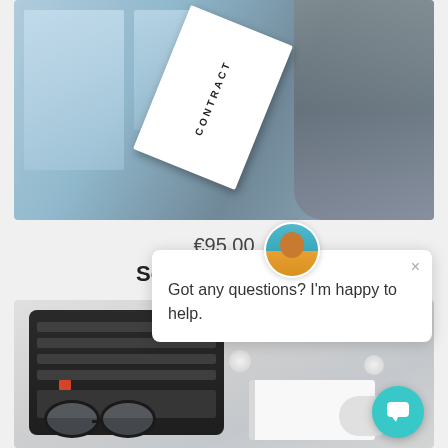[Figure (photo): Product image showing a CONTRACT document paper held up, with blurred office/window background in blue tones]
€95.00
Scientific editing
View Item
[Figure (photo): Desk flatlay photo with keyboard, glasses, crumpled papers, notebook on white background. Has a live chat popup overlay saying 'Got any questions? I'm happy to help.' with an avatar and close button, plus a teal chat icon in the bottom right.]
Got any questions? I'm happy to help.